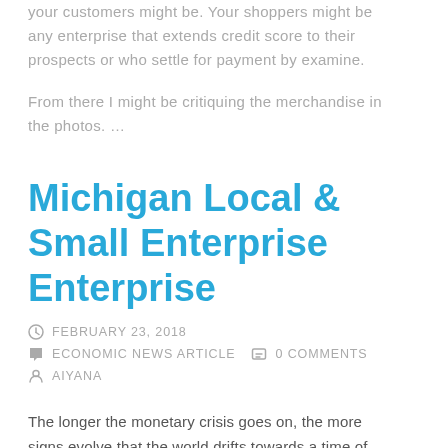your customers might be. Your shoppers might be any enterprise that extends credit score to their prospects or who settle for payment by examine.
From there I might be critiquing the merchandise in the photos. …
Michigan Local & Small Enterprise Enterprise
FEBRUARY 23, 2018   ECONOMIC NEWS ARTICLE   0 COMMENTS   AIYANA
The longer the monetary crisis goes on, the more signs evolve that the world drifts towards a time of high inflation. It is usually much simpler to see a problem when viewing it from the angle of the way it can have an effect on you…